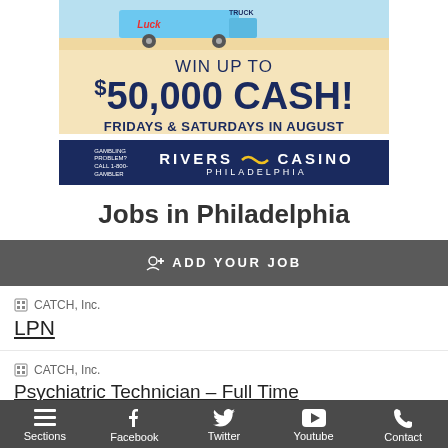[Figure (infographic): Rivers Casino Philadelphia advertisement banner. Text reads: WIN UP TO $50,000 CASH! FRIDAYS & SATURDAYS IN AUGUST. Features an ice cream truck illustration at the top and the Rivers Casino Philadelphia logo at the bottom with gambling problem helpline text.]
Jobs in Philadelphia
ADD YOUR JOB
CATCH, Inc.
LPN
CATCH, Inc.
Psychiatric Technician – Full Time
Sections  Facebook  Twitter  Youtube  Contact